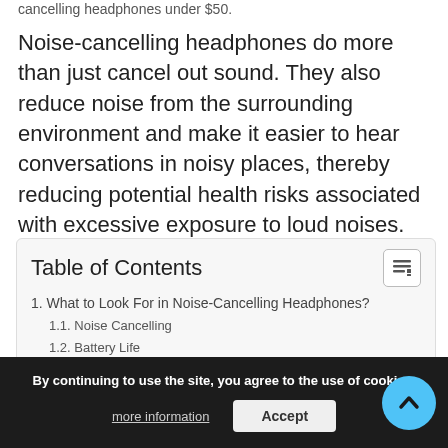cancelling headphones under $50.
Noise-cancelling headphones do more than just cancel out sound. They also reduce noise from the surrounding environment and make it easier to hear conversations in noisy places, thereby reducing potential health risks associated with excessive exposure to loud noises.
| Table of Contents |
| 1. What to Look For in Noise-Cancelling Headphones? |
| 1.1. Noise Cancelling |
| 1.2. Battery Life |
| 1.3. Sound Quality |
| 1.4. Comfort |
| 2.5 Best Noise-Cancelling Headphones under $50 |
| 2.1. Srhythm Noise Cancelli... |
| 2.2. iTeknic Active Noise Cancelling Headphones |
By continuing to use the site, you agree to the use of cookies. more information Accept